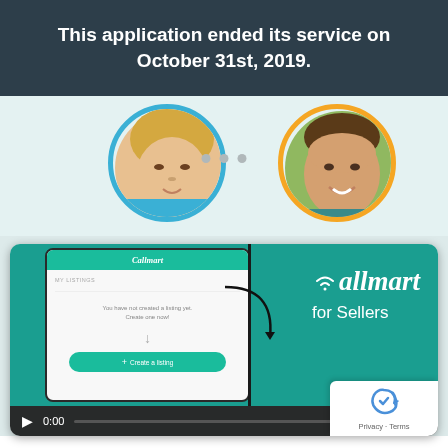This application ended its service on October 31st, 2019.
[Figure (screenshot): Two circular profile photos — a woman with blonde hair in a blue-bordered circle on the left, and a smiling man in an orange-bordered circle on the right — on a light teal background, with three navigation dots in the center.]
[Figure (screenshot): A video player thumbnail showing a smartphone screen with the Callmart app (showing 'MY LISTINGS' and a 'Create a listing' button) on a teal background, alongside the Callmart logo and 'for Sellers' text. Video controls show play button, 0:00 timestamp, progress bar, volume and fullscreen icons. A Privacy/Terms badge is in the bottom right.]